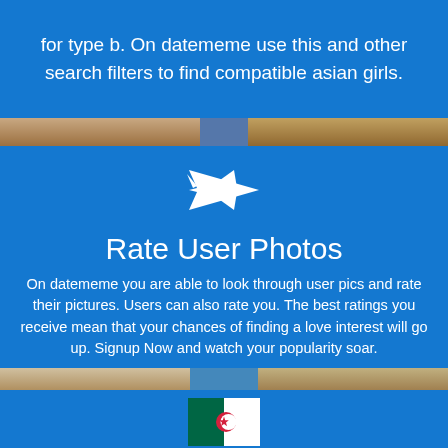for type b. On datememe use this and other search filters to find compatible asian girls.
[Figure (photo): Strip of user photos]
[Figure (illustration): White fighter jet / airplane icon on blue background]
Rate User Photos
On datememe you are able to look through user pics and rate their pictures. Users can also rate you. The best ratings you receive mean that your chances of finding a love interest will go up. Signup Now and watch your popularity soar.
[Figure (photo): Strip of user photos]
[Figure (illustration): Algerian flag icon]
Free Dating Site in Ain